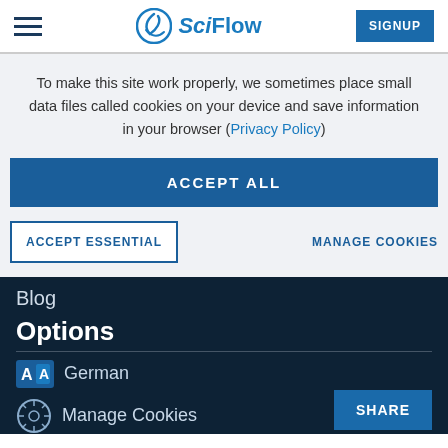SciFlow — SIGNUP
To make this site work properly, we sometimes place small data files called cookies on your device and save information in your browser (Privacy Policy)
ACCEPT ALL
ACCEPT ESSENTIAL
MANAGE COOKIES
Blog
Options
German
Manage Cookies
SHARE